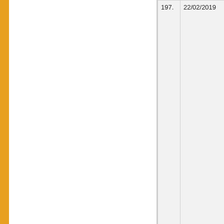| # | Date | Title |
| --- | --- | --- |
| 197. | 22/02/2019 | Elections of ... for the term ... form) |
| 198. | 21/02/2019 | Elections of ... 01.04.2019 ... |
| 199. | 14/02/2019 | BSNL Landl... ID and Mobi... |
| 200. | 14/02/2019 | Circular (reg... |
| 201. | 01/02/2019 | Circular rega... Outsourcing... |
| 202. | 28/01/2019 | Observance... |
| 203. | 24/01/2019 | Invitation an... Celebrations... |
| 204. | 18/12/2018 | Honours/ In... of Republic ... |
| 205. | 29/11/2018 | Office Order... |
| 206. | 13/11/2018 | Prevention a... borne disea... |
| 207. | 02/11/2018 | Office Order... the Universi... |
| 208. | 03/12/2018 | Circu... |